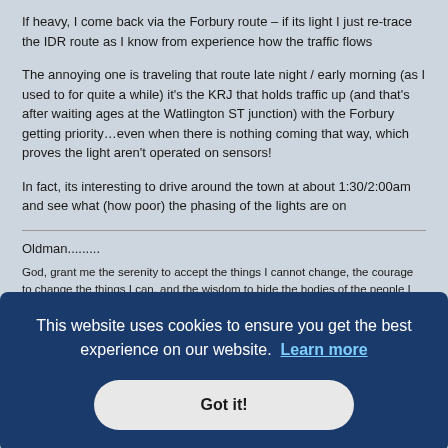If heavy, I come back via the Forbury route – if its light I just re-trace the IDR route as I know from experience how the traffic flows
The annoying one is traveling that route late night / early morning (as I used to for quite a while) it's the KRJ that holds traffic up (and that's after waiting ages at the Watlington ST junction) with the Forbury getting priority…even when there is nothing coming that way, which proves the light aren't operated on sensors!
In fact, its interesting to drive around the town at about 1:30/2:00am and see what (how poor) the phasing of the lights are on
Oldman.........
God, grant me the serenity to accept the things I cannot change, the courage to change the things I can, and the wisdom to hide the bodies of the people I had to kill because
dy!
[Figure (screenshot): Cookie consent banner overlay with dark blue background. Text: 'This website uses cookies to ensure you get the best experience on our website. Learn more' with a 'Got it!' button.]
Re: Homebase and Toys R Us Redevelopment